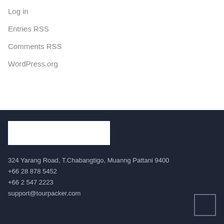Log in
Entries RSS
Comments RSS
WordPress.org
[Figure (logo): White rectangular logo placeholder on dark background]
324 Yarang Road, T.Chabangtigo, Muanng Pattani 9400
+66 28 878 5452
+66 2 547 2223
support@tourpacker.com